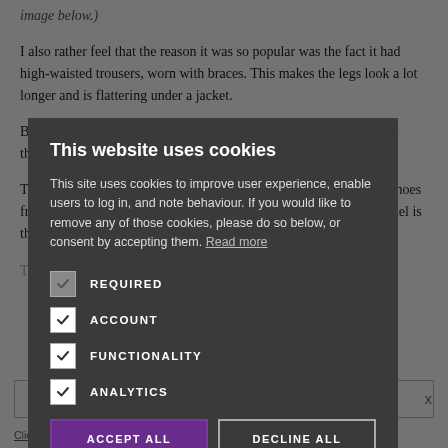image below.)
I also rather feel that the reason it was so popular was the fact it had high-waisted trousers, worn with braces. This makes the legs look a lot longer and is flattering under a jacket.
But don's trousers like this because I find them... evaluated without the...
The silk tie and handkerchief are from Anderson & Sheppard, the shoes from Edward Green, as usual... series. The Edward Green model is the Berkeley in dark-oak antique.
[Figure (screenshot): Cookie consent modal overlay on a dark background. Title: 'This website uses cookies'. Body text explaining cookie use. Checkboxes for REQUIRED, ACCOUNT, FUNCTIONALITY, ANALYTICS. Two buttons: ACCEPT ALL and DECLINE ALL.]
The Edwardian style... sketch
CLICK HERE TO REGISTER
Click here to read our Privacy Policy